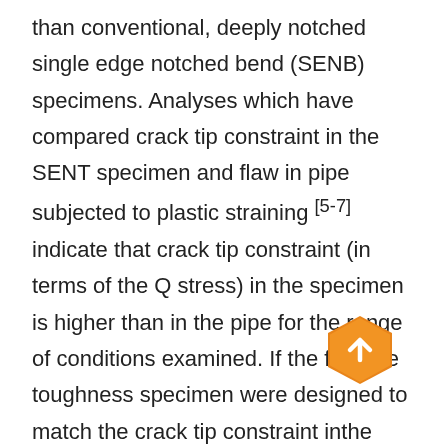than conventional, deeply notched single edge notched bend (SENB) specimens. Analyses which have compared crack tip constraint in the SENT specimen and flaw in pipe subjected to plastic straining [5-7] indicate that crack tip constraint (in terms of the Q stress) in the specimen is higher than in the pipe for the range of conditions examined. If the fracture toughness specimen were designed to match the crack tip constraint inthe pipe, the outcome would be that higher fracture toughness would be measured compared with SENT design currently recommended by the reeling procedure. [3] Consequently, the design of the SENT specimens can provide a degree of